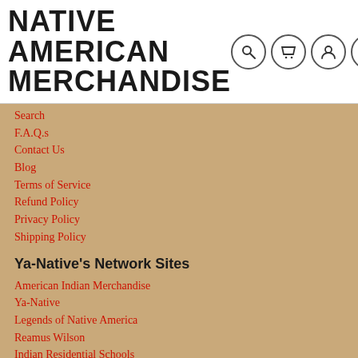NATIVE AMERICAN MERCHANDISE
Search
F.A.Q.s
Contact Us
Blog
Terms of Service
Refund Policy
Privacy Policy
Shipping Policy
Ya-Native's Network Sites
American Indian Merchandise
Ya-Native
Legends of Native America
Reamus Wilson
Indian Residential Schools
Free Leonard Peltier